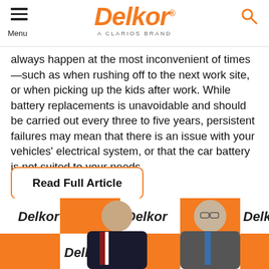Menu | Delkor A CLARIOS BRAND | [search icon]
always happen at the most inconvenient of times—such as when rushing off to the next work site, or when picking up the kids after work. While battery replacements is unavoidable and should be carried out every three to five years, persistent failures may mean that there is an issue with your vehicles' electrical system, or that the car battery is not suited to your needs.
Read Full Article
[Figure (photo): Two businessmen in suits standing in front of a Delkor branded backdrop with orange and white checkered pattern. The Delkor logo is repeated across the backdrop.]